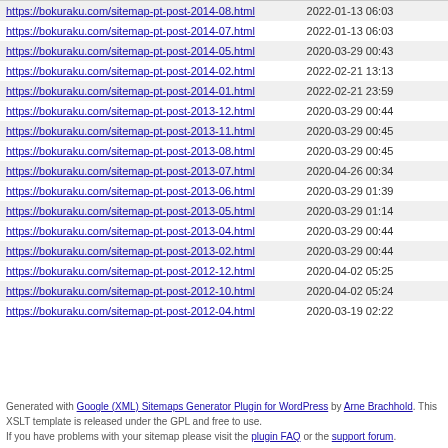| URL | Last Modified |
| --- | --- |
| https://bokuraku.com/sitemap-pt-post-2014-08.html | 2022-01-13 06:03 |
| https://bokuraku.com/sitemap-pt-post-2014-07.html | 2022-01-13 06:03 |
| https://bokuraku.com/sitemap-pt-post-2014-05.html | 2020-03-29 00:43 |
| https://bokuraku.com/sitemap-pt-post-2014-02.html | 2022-02-21 13:13 |
| https://bokuraku.com/sitemap-pt-post-2014-01.html | 2022-02-21 23:59 |
| https://bokuraku.com/sitemap-pt-post-2013-12.html | 2020-03-29 00:44 |
| https://bokuraku.com/sitemap-pt-post-2013-11.html | 2020-03-29 00:45 |
| https://bokuraku.com/sitemap-pt-post-2013-08.html | 2020-03-29 00:45 |
| https://bokuraku.com/sitemap-pt-post-2013-07.html | 2020-04-26 00:34 |
| https://bokuraku.com/sitemap-pt-post-2013-06.html | 2020-03-29 01:39 |
| https://bokuraku.com/sitemap-pt-post-2013-05.html | 2020-03-29 01:14 |
| https://bokuraku.com/sitemap-pt-post-2013-04.html | 2020-03-29 00:44 |
| https://bokuraku.com/sitemap-pt-post-2013-02.html | 2020-03-29 00:44 |
| https://bokuraku.com/sitemap-pt-post-2012-12.html | 2020-04-02 05:25 |
| https://bokuraku.com/sitemap-pt-post-2012-10.html | 2020-04-02 05:24 |
| https://bokuraku.com/sitemap-pt-post-2012-04.html | 2020-03-19 02:22 |
Generated with Google (XML) Sitemaps Generator Plugin for WordPress by Arne Brachhold. This XSLT template is released under the GPL and free to use. If you have problems with your sitemap please visit the plugin FAQ or the support forum.